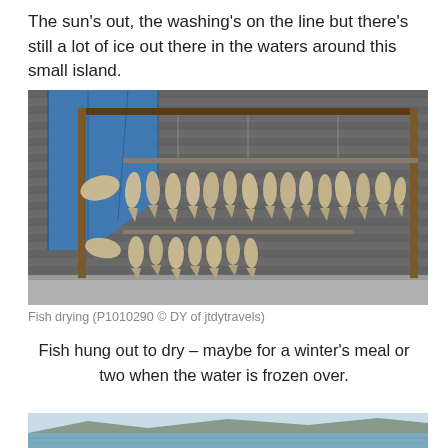The sun’s out, the washing’s on the line but there’s still a lot of ice out there in the waters around this small island.
[Figure (photo): Fish hung out to dry on a metal rack outdoors, with a grey corrugated wall in the background and a blue tarp visible on the left side.]
Fish drying (P1010290 © DY of jtdytravels)
Fish hung out to dry – maybe for a winter’s meal or two when the water is frozen over.
[Figure (photo): Partial view of a body of water with mountains or land in the background, cut off at the bottom of the page.]